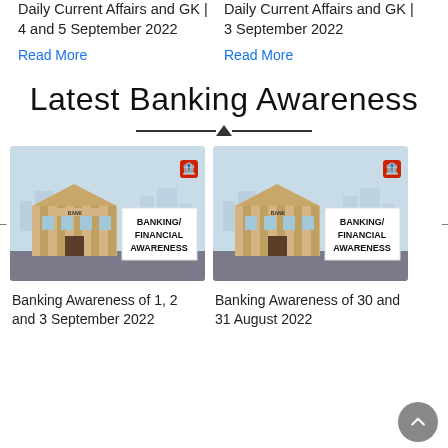Daily Current Affairs and GK | 4 and 5 September 2022
Read More
Daily Current Affairs and GK | 3 September 2022
Read More
Latest Banking Awareness
[Figure (illustration): Banking/Financial Awareness thumbnail showing a bank building illustration with text 'BANKING/ FINANCIAL AWARENESS']
Banking Awareness of 1, 2 and 3 September 2022
[Figure (illustration): Banking/Financial Awareness thumbnail showing a bank building illustration with text 'BANKING/ FINANCIAL AWARENESS']
Banking Awareness of 30 and 31 August 2022